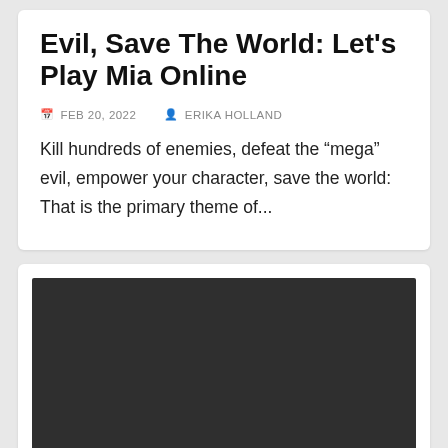Evil, Save The World: Let’s Play Mia Online
FEB 20, 2022   ERIKA HOLLAND
Kill hundreds of enemies, defeat the “mega” evil, empower your character, save the world: That is the primary theme of...
[Figure (photo): Dark/black rectangular image placeholder, likely a video thumbnail or game screenshot]